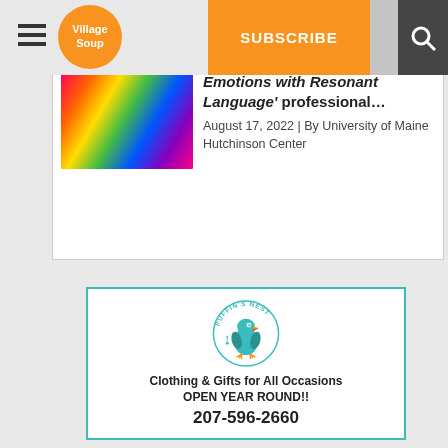Village Soup | SUBSCRIBE | LOGIN
Emotions with Resonant Language' professional…
August 17, 2022 | By University of Maine
Hutchinson Center
[Figure (logo): Puffin's Nest logo: a teal circular badge with a puffin bird illustration and text 'PUFFIN'S NEST' around the top arc]
Clothing & Gifts for All Occasions
OPEN YEAR ROUND!!
207-596-2660